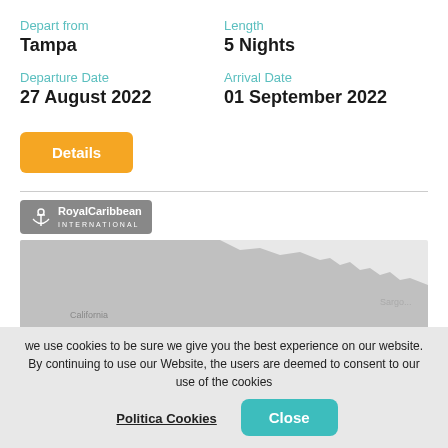Depart from
Tampa
Length
5 Nights
Departure Date
27 August 2022
Arrival Date
01 September 2022
Details
[Figure (logo): Royal Caribbean International logo on grey background]
[Figure (map): Greyscale map showing southeastern United States and Gulf of Mexico area, with labels California and Sargo visible]
we use cookies to be sure we give you the best experience on our website. By continuing to use our Website, the users are deemed to consent to our use of the cookies
Politica Cookies
Close